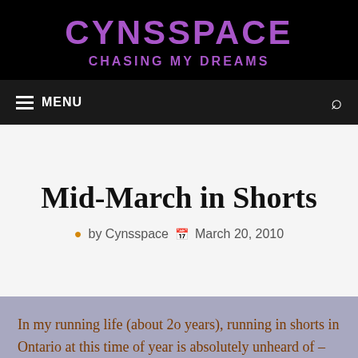CYNSSPACE
CHASING MY DREAMS
Mid-March in Shorts
by Cynsspace   March 20, 2010
In my running life (about 2o years), running in shorts in Ontario at this time of year is absolutely unheard of – unless you're Scottish and are use to running in shorts all year round, no matter how cold or damp it is, or unless you're just plain tough. This a.m. though, there have been a lot of people running in